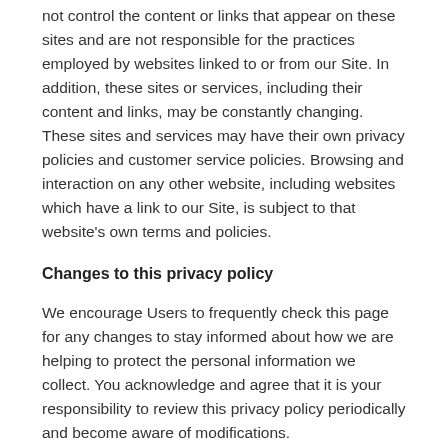not control the content or links that appear on these sites and are not responsible for the practices employed by websites linked to or from our Site. In addition, these sites or services, including their content and links, may be constantly changing. These sites and services may have their own privacy policies and customer service policies. Browsing and interaction on any other website, including websites which have a link to our Site, is subject to that website's own terms and policies.
Changes to this privacy policy
We encourage Users to frequently check this page for any changes to stay informed about how we are helping to protect the personal information we collect. You acknowledge and agree that it is your responsibility to review this privacy policy periodically and become aware of modifications.
Your acceptance of these terms
By using this Site, you signify your acceptance of this policy. If...